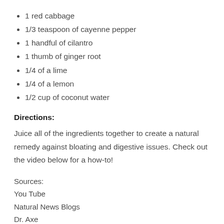1 red cabbage
1/3 teaspoon of cayenne pepper
1 handful of cilantro
1 thumb of ginger root
1/4 of a lime
1/4 of a lemon
1/2 cup of coconut water
Directions:
Juice all of the ingredients together to create a natural remedy against bloating and digestive issues. Check out the video below for a how-to!
Sources:
You Tube
Natural News Blogs
Dr. Axe